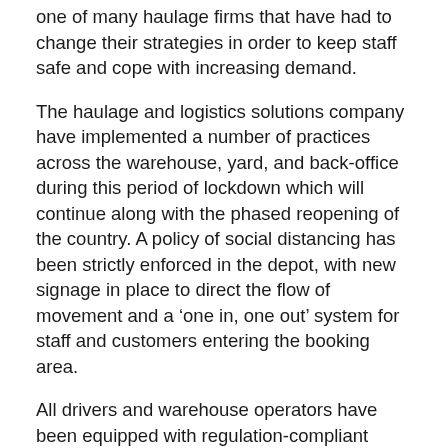one of many haulage firms that have had to change their strategies in order to keep staff safe and cope with increasing demand.
The haulage and logistics solutions company have implemented a number of practices across the warehouse, yard, and back-office during this period of lockdown which will continue along with the phased reopening of the country. A policy of social distancing has been strictly enforced in the depot, with new signage in place to direct the flow of movement and a ‘one in, one out’ system for staff and customers entering the booking area.
All drivers and warehouse operators have been equipped with regulation-compliant PPE, allowing them to feel as safe as possible whilst carrying out consignments. Third-party drivers, who bring in consignments for storing, sorting and onward